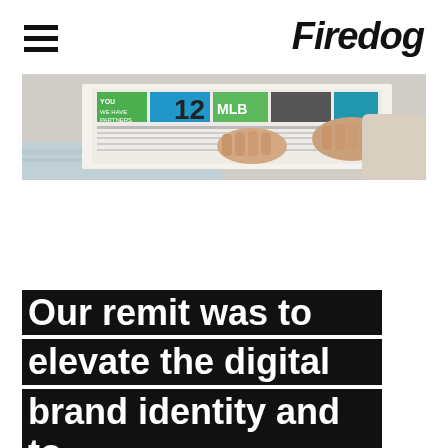Firedog
[Figure (photo): Person holding and browsing through a newspaper or magazine with colorful advertisements visible, resting on a wooden surface]
Our remit was to elevate the digital brand identity and to